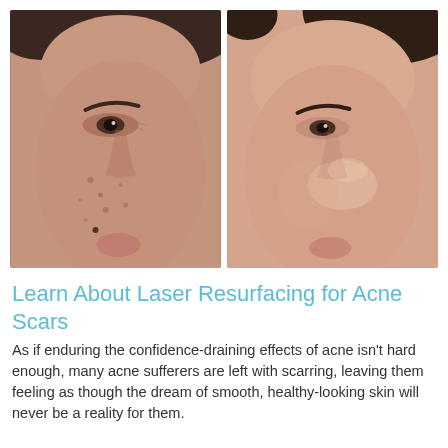[Figure (photo): Side-by-side before and after photos of a woman's face showing acne scarring on the left and smoother skin after laser resurfacing treatment on the right.]
Learn About Laser Resurfacing for Acne Scars
As if enduring the confidence-draining effects of acne isn't hard enough, many acne sufferers are left with scarring, leaving them feeling as though the dream of smooth, healthy-looking skin will never be a reality for them.